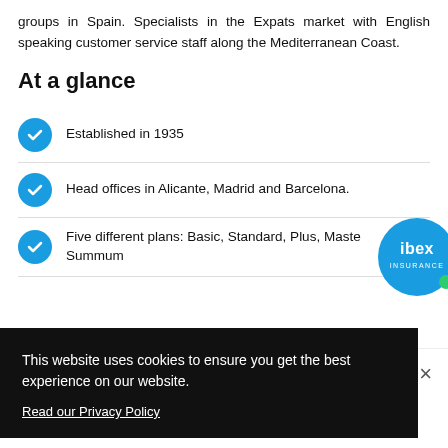groups in Spain. Specialists in the Expats market with English speaking customer service staff along the Mediterranean Coast.
At a glance
Established in 1935
Head offices in Alicante, Madrid and Barcelona.
Five different plans: Basic, Standard, Plus, Master, Summum
[Figure (logo): Ibex Insurance logo — blue circle with white 'ibex' text and 'INSURANCE' below, with a small green dot]
This website uses cookies to ensure you get the best experience on our website. Read our Privacy Policy
Call Me Back
Email